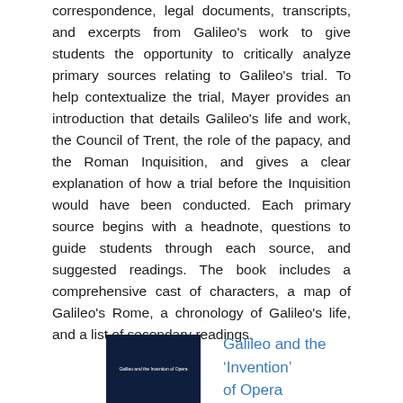correspondence, legal documents, transcripts, and excerpts from Galileo's work to give students the opportunity to critically analyze primary sources relating to Galileo's trial. To help contextualize the trial, Mayer provides an introduction that details Galileo's life and work, the Council of Trent, the role of the papacy, and the Roman Inquisition, and gives a clear explanation of how a trial before the Inquisition would have been conducted. Each primary source begins with a headnote, questions to guide students through each source, and suggested readings. The book includes a comprehensive cast of characters, a map of Galileo's Rome, a chronology of Galileo's life, and a list of secondary readings.
[Figure (photo): Book cover with dark navy background showing title text in white]
Galileo and the ‘Invention’ of Opera